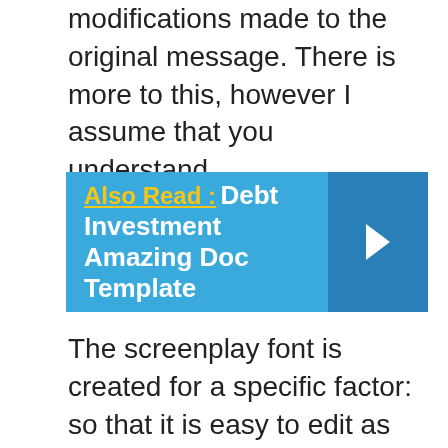modifications made to the original message. There is more to this, however I assume that you understand.
Also Read :  Debt Investment Amazing Doc Template
The screenplay font is created for a specific factor: so that it is easy to edit as well as use, which the resulting document is something that can be used by others in your firm ( and even outside your firm if you so desire). Each layout has its own distinct layout, its own setup of policies, as well as in some cases it will additionally have unique formatting. Some templates will certainly be customized, and this will certainly include a